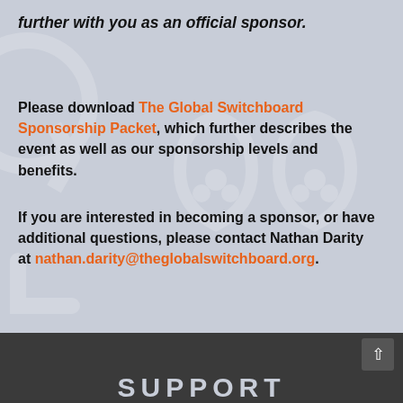further with you as an official sponsor.
Please download The Global Switchboard Sponsorship Packet, which further describes the event as well as our sponsorship levels and benefits.
If you are interested in becoming a sponsor, or have additional questions, please contact Nathan Darity at nathan.darity@theglobalswitchboard.org.
SUPPORT